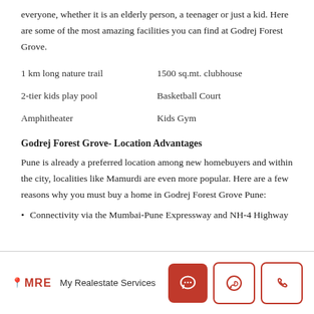everyone, whether it is an elderly person, a teenager or just a kid. Here are some of the most amazing facilities you can find at Godrej Forest Grove.
1 km long nature trail
1500 sq.mt. clubhouse
2-tier kids play pool
Basketball Court
Amphitheater
Kids Gym
Godrej Forest Grove- Location Advantages
Pune is already a preferred location among new homebuyers and within the city, localities like Mamurdi are even more popular. Here are a few reasons why you must buy a home in Godrej Forest Grove Pune:
Connectivity via the Mumbai-Pune Expressway and NH-4 Highway
My Realestate Services